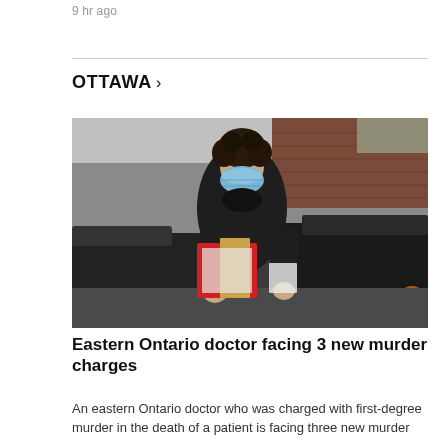9 hr ago
OTTAWA >
[Figure (photo): A man wearing a blue surgical face mask and black t-shirt, carrying red folders and papers, walking through a parking lot with dark vehicles and a brick building in the background.]
Eastern Ontario doctor facing 3 new murder charges
An eastern Ontario doctor who was charged with first-degree murder in the death of a patient is facing three new murder